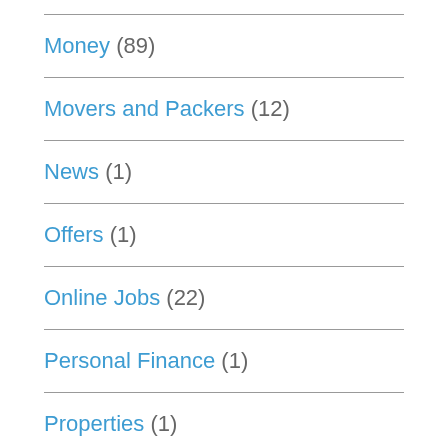Money (89)
Movers and Packers (12)
News (1)
Offers (1)
Online Jobs (22)
Personal Finance (1)
Properties (1)